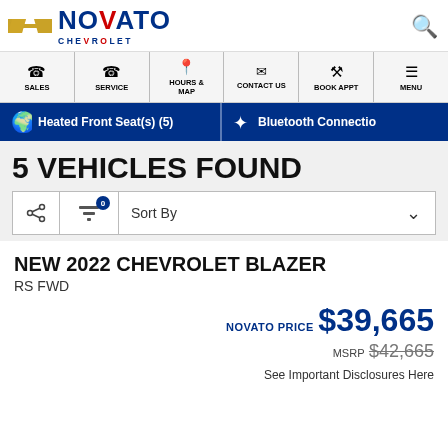Novato Chevrolet - dealership logo and search icon
SALES | SERVICE | HOURS & MAP | CONTACT US | BOOK APPT | MENU
Heated Front Seat(s) (5)
Bluetooth Connectio
5 VEHICLES FOUND
Sort By
NEW 2022 CHEVROLET BLAZER
RS FWD
NOVATO PRICE $39,665
MSRP $42,665
See Important Disclosures Here